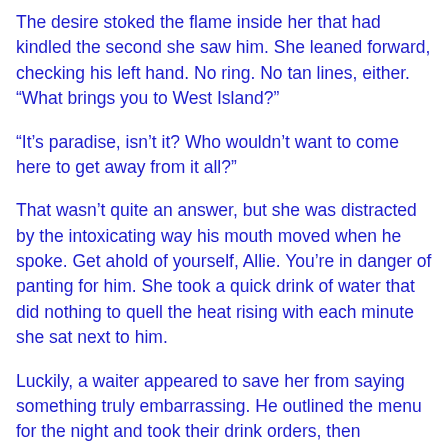The desire stoked the flame inside her that had kindled the second she saw him. She leaned forward, checking his left hand. No ring. No tan lines, either. “What brings you to West Island?”
“It’s paradise, isn’t it? Who wouldn’t want to come here to get away from it all?”
That wasn’t quite an answer, but she was distracted by the intoxicating way his mouth moved when he spoke. Get ahold of yourself, Allie. You’re in danger of panting for him. She took a quick drink of water that did nothing to quell the heat rising with each minute she sat next to him.
Luckily, a waiter appeared to save her from saying something truly embarrassing. He outlined the menu for the night and took their drink orders, then disappeared as quickly as he’d come.